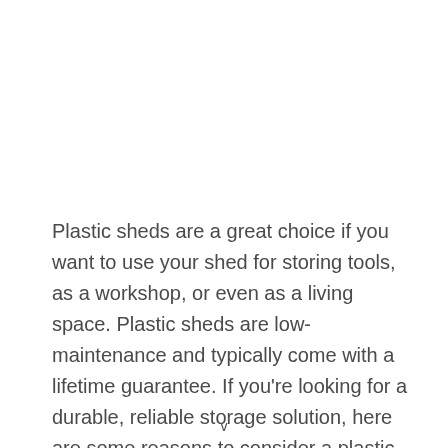Plastic sheds are a great choice if you want to use your shed for storing tools, as a workshop, or even as a living space. Plastic sheds are low-maintenance and typically come with a lifetime guarantee. If you're looking for a durable, reliable storage solution, here are some reasons to consider a plastic shed::
v